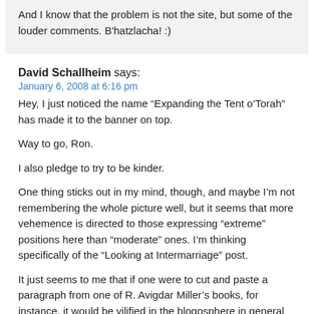And I know that the problem is not the site, but some of the louder comments. B'hatzlacha! :)
David Schallheim says:
January 6, 2008 at 6:16 pm
Hey, I just noticed the name “Expanding the Tent o’Torah” has made it to the banner on top.
Way to go, Ron.
I also pledge to try to be kinder.
One thing sticks out in my mind, though, and maybe I’m not remembering the whole picture well, but it seems that more vehemence is directed to those expressing “extreme” positions here than “moderate” ones. I’m thinking specifically of the “Looking at Intermarriage” post.
It just seems to me that if one were to cut and paste a paragraph from one of R. Avigdar Miller’s books, for instance, it would be vilified in the blogosphere in general and on Beyond BT in particular. But aren't those views at least as equally fit to be included in the Tent o’Torah?